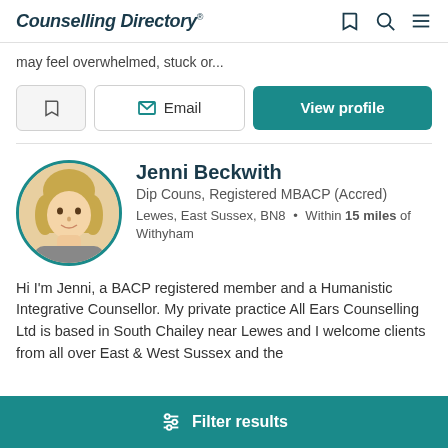Counselling Directory
may feel overwhelmed, stuck or...
Email | View profile
Jenni Beckwith
Dip Couns, Registered MBACP (Accred)
Lewes, East Sussex, BN8 • Within 15 miles of Withyham
[Figure (photo): Circular profile photo of Jenni Beckwith, a woman with blonde hair, framed in a teal border]
Hi I'm Jenni, a BACP registered member and a Humanistic Integrative Counsellor. My private practice All Ears Counselling Ltd is based in South Chailey near Lewes and I welcome clients from all over East & West Sussex and the
Filter results